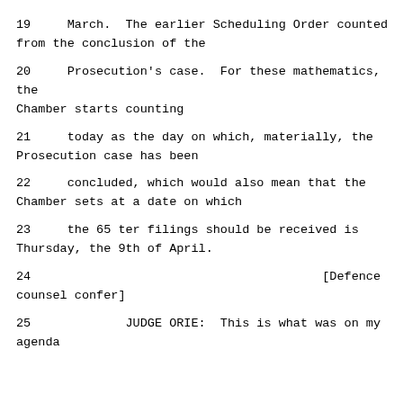19     March.  The earlier Scheduling Order counted from the conclusion of the
20     Prosecution's case.  For these mathematics, the Chamber starts counting
21     today as the day on which, materially, the Prosecution case has been
22     concluded, which would also mean that the Chamber sets at a date on which
23     the 65 ter filings should be received is Thursday, the 9th of April.
24                                        [Defence counsel confer]
25             JUDGE ORIE:  This is what was on my agenda